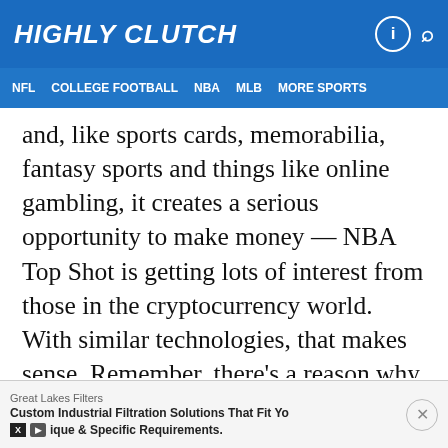HIGHLY CLUTCH
NFL  COLLEGE FOOTBALL  NBA  MLB  MORE SPORTS
and, like sports cards, memorabilia, fantasy sports and things like online gambling, it creates a serious opportunity to make money — NBA Top Shot is getting lots of interest from those in the cryptocurrency world. With similar technologies, that makes sense. Remember, there's a reason why Bitcoin stock continues to rise in price.
Great Lakes Filters
Custom Industrial Filtration Solutions That Fit Your Unique & Specific Requirements.